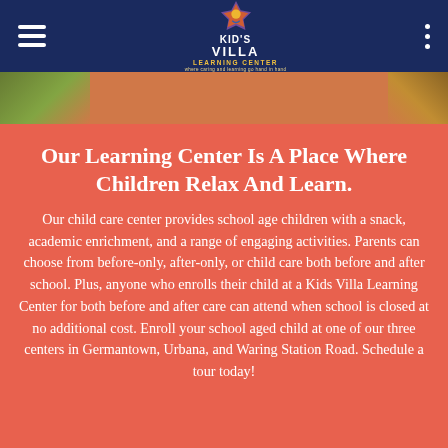Kid's Villa Learning Center — navigation bar
[Figure (other): Outdoor image strip showing greenery on left and golden/warm tones on right]
Our Learning Center Is A Place Where Children Relax And Learn.
Our child care center provides school age children with a snack, academic enrichment, and a range of engaging activities. Parents can choose from before-only, after-only, or child care both before and after school. Plus, anyone who enrolls their child at a Kids Villa Learning Center for both before and after care can attend when school is closed at no additional cost. Enroll your school aged child at one of our three centers in Germantown, Urbana, and Waring Station Road. Schedule a tour today!